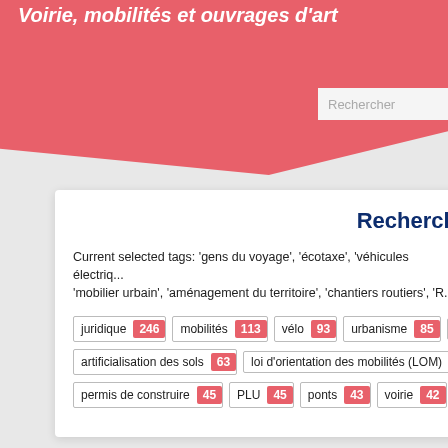Voirie, mobilités et ouvrages d'art
Recherch
Current selected tags: 'gens du voyage', 'écotaxe', 'véhicules électriq... 'mobilier urbain', 'aménagement du territoire', 'chantiers routiers', 'R...
juridique 246
mobilités 113
vélo 93
urbanisme 85
artificialisation des sols 63
loi d'orientation des mobilités (LOM)
permis de construire 45
PLU 45
ponts 43
voirie 42